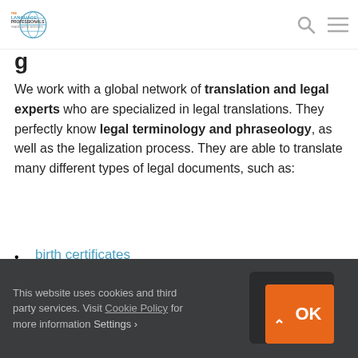The Language Professionals Translation Services
We work with a global network of translation and legal experts who are specialized in legal translations. They perfectly know legal terminology and phraseology, as well as the legalization process. They are able to translate many different types of legal documents, such as:
birth certificates
marriage certificates
diplomas
This website uses cookies and third party services. Visit Cookie Policy for more information Settings OK